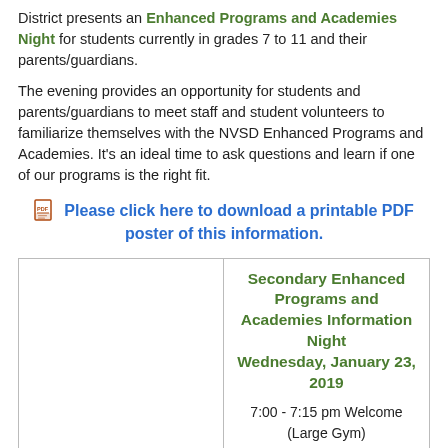District presents an Enhanced Programs and Academies Night for students currently in grades 7 to 11 and their parents/guardians.
The evening provides an opportunity for students and parents/guardians to meet staff and student volunteers to familiarize themselves with the NVSD Enhanced Programs and Academies. It's an ideal time to ask questions and learn if one of our programs is the right fit.
Please click here to download a printable PDF poster of this information.
[Figure (other): Left column of a two-column box, mostly blank with a horizontal line near the bottom]
Secondary Enhanced Programs and Academies Information Night
Wednesday, January 23, 2019

7:00 - 7:15 pm Welcome (Large Gym)
Michael Kee, Principal Distributed Learning & District Academies
Cyndi Gerlach, Trustee